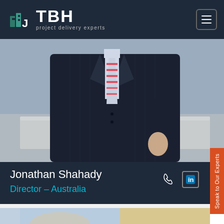[Figure (logo): TBH logo with building icon and text 'TBH project delivery experts' on dark navy header]
[Figure (photo): Photo of a man in a dark navy pinstripe suit with striped tie, leaning against a concrete wall outdoors]
Jonathan Shahady
Director - Australia
[Figure (infographic): Phone icon and LinkedIn icon in a box for contact]
[Figure (photo): Partial preview of another person photo at the bottom of the page]
Speak to Our Experts